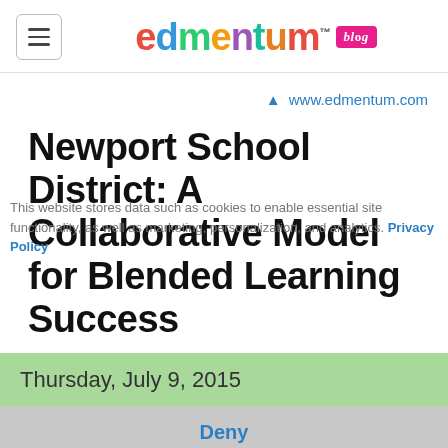edmentum blog
www.edmentum.com
Newport School District: A Collaborative Model for Blended Learning Success
This website stores data such as cookies to enable essential site functionality, as well as marketing, personalization, and analytics. Privacy Policy
Thursday, July 9, 2015
Deny